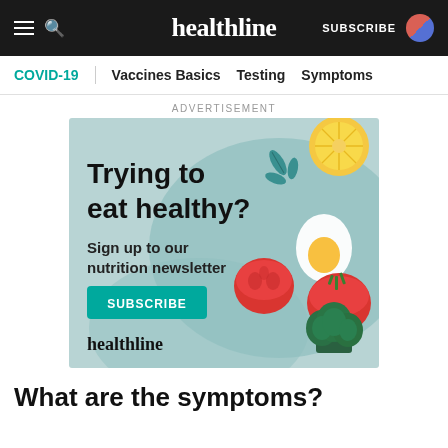healthline
COVID-19 | Vaccines Basics | Testing | Symptoms
ADVERTISEMENT
[Figure (illustration): Healthline nutrition newsletter advertisement banner with light teal background featuring illustrated food items (lemon slice, arugula leaves, egg, tomatoes, broccoli). Text reads: Trying to eat healthy? Sign up to our nutrition newsletter. SUBSCRIBE button. healthline logo.]
What are the symptoms?